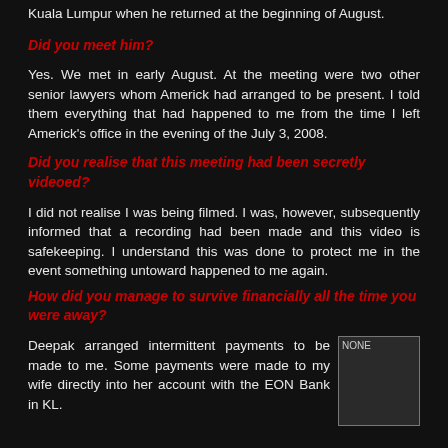Kuala Lumpur when he returned at the beginning of August.
Did you meet him?
Yes. We met in early August. At the meeting were two other senior lawyers whom Americk had arranged to be present. I told them everything that had happened to me from the time I left Americk's office in the evening of the July 3, 2008.
Did you realise that this meeting had been secretly videoed?
I did not realise I was being filmed. I was, however, subsequently informed that a recording had been made and this video is safekeeping. I understand this was done to protect me in the event something untoward happened to me again.
How did you manage to survive financially all the time you were away?
Deepak arranged intermittent payments to be made to me. Some payments were made to my wife directly into her account with the EON Bank in KL.
[Figure (photo): Small placeholder image in bottom right corner, dark background with 'NONE' label]